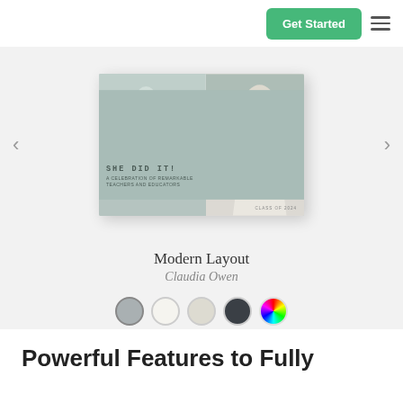Get Started  ≡
[Figure (illustration): Book/yearbook cover mockup with 'SHE DID IT!' title, photos of women, muted teal/gray color scheme, carousel with left and right arrows]
Modern Layout
Claudia Owen
[Figure (infographic): Five color swatches in circles: gray (selected), off-white, cream, dark charcoal, color wheel multicolor]
Powerful Features to Fully